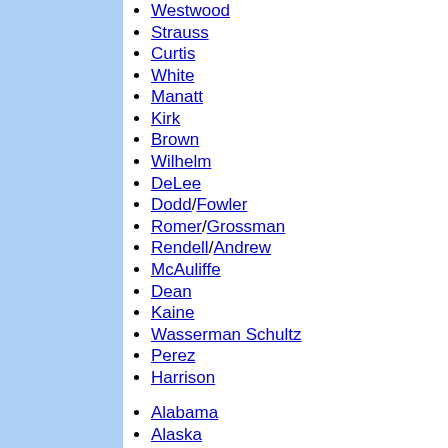Westwood
Strauss
Curtis
White
Manatt
Kirk
Brown
Wilhelm
DeLee
Dodd/Fowler
Romer/Grossman
Rendell/Andrew
McAuliffe
Dean
Kaine
Wasserman Schultz
Perez
Harrison
Alabama
Alaska
Arizona
Arkansas
California
Colorado
Connecticut